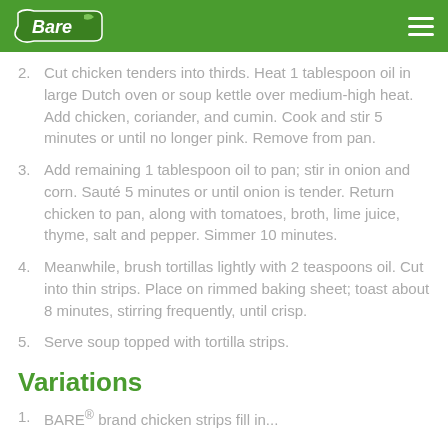Bare (logo)
2. Cut chicken tenders into thirds. Heat 1 tablespoon oil in large Dutch oven or soup kettle over medium-high heat. Add chicken, coriander, and cumin. Cook and stir 5 minutes or until no longer pink. Remove from pan.
3. Add remaining 1 tablespoon oil to pan; stir in onion and corn. Sauté 5 minutes or until onion is tender. Return chicken to pan, along with tomatoes, broth, lime juice, thyme, salt and pepper. Simmer 10 minutes.
4. Meanwhile, brush tortillas lightly with 2 teaspoons oil. Cut into thin strips. Place on rimmed baking sheet; toast about 8 minutes, stirring frequently, until crisp.
5. Serve soup topped with tortilla strips.
Variations
1. BARE® ...